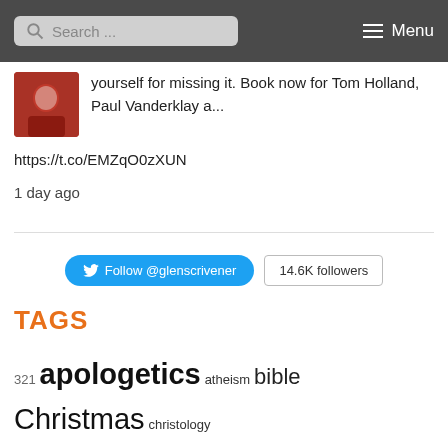Search ... Menu
yourself for missing it. Book now for Tom Holland, Paul Vanderklay a...
https://t.co/EMZqO0zXUN
1 day ago
Follow @glenscrivener   14.6K followers
TAGS
321 apologetics atheism bible Christmas christology covenant continuity creative Cross culture